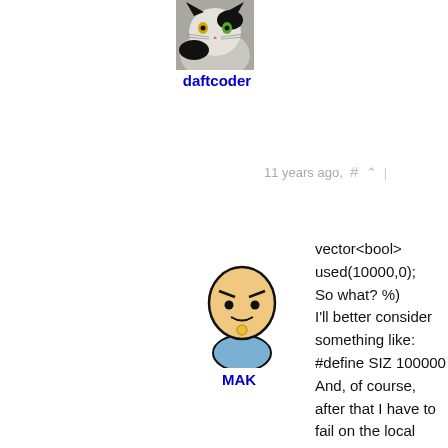[Figure (photo): Avatar of user daftcoder: photo of a black and white cat]
daftcoder
→ Reply
11 years ago, # ^ |
[Figure (illustration): Avatar of user MAK: cartoon meme face illustration]
MAK
vector<bool> used(10000,0);
So what? %)
I'll better consider something like:
#define SIZ 100000
And, of course, after that I have to fail on the local testing. (C++ is su... call didn't fail on the local testing).
→ Reply
11 years ago, # ^ |
[Figure (photo): Avatar of user Egor: photo of a man with brown hair]
Egor
No
vector <bool> used(n);
vector under MSVS debug m...
→ Reply